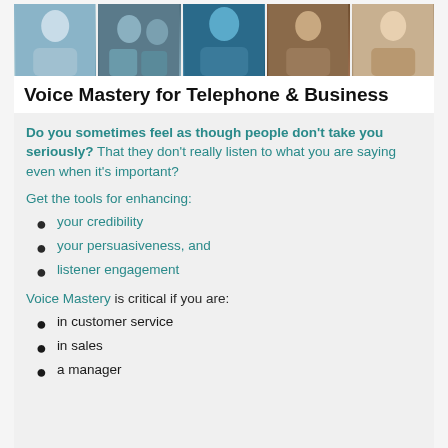[Figure (photo): Strip of five professional/business photos showing people in various work communication scenarios]
Voice Mastery for Telephone & Business
Do you sometimes feel as though people don't take you seriously? That they don't really listen to what you are saying even when it's important?
Get the tools for enhancing:
your credibility
your persuasiveness, and
listener engagement
Voice Mastery is critical if you are:
in customer service
in sales
a manager